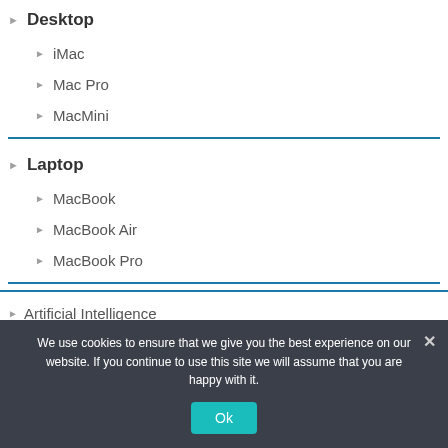Desktop
iMac
Mac Pro
MacMini
Laptop
MacBook
MacBook Air
MacBook Pro
Artificial Intelligence
Audio Control
We use cookies to ensure that we give you the best experience on our website. If you continue to use this site we will assume that you are happy with it.